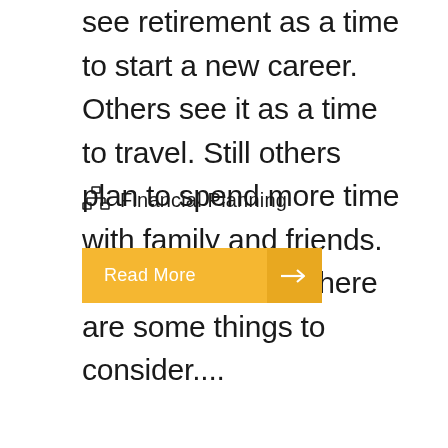see retirement as a time to start a new career. Others see it as a time to travel. Still others plan to spend more time with family and friends. With that in mind, here are some things to consider....
Financial Planning
Read More